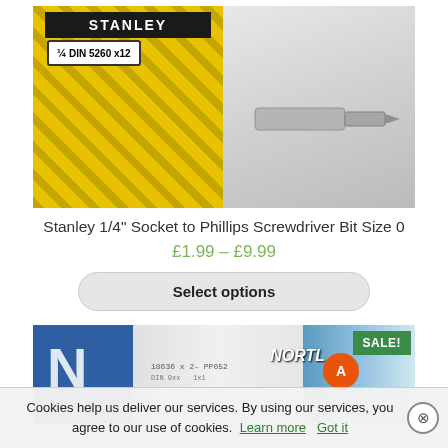[Figure (photo): Stanley 1/4" screwdriver bit set box (yellow and black diamond-plate design) on the left, with a Phillips screwdriver bit lying on a grey surface on the right.]
Stanley 1/4" Socket to Phillips Screwdriver Bit Size 0
£1.99 – £9.99
Select options
[Figure (photo): Second product image partially visible: blue packaging on the left, small screwdriver bits in the center, Norton branding on the right with a SALE! badge in the top right corner.]
Cookies help us deliver our services. By using our services, you agree to our use of cookies. Learn more   Got it